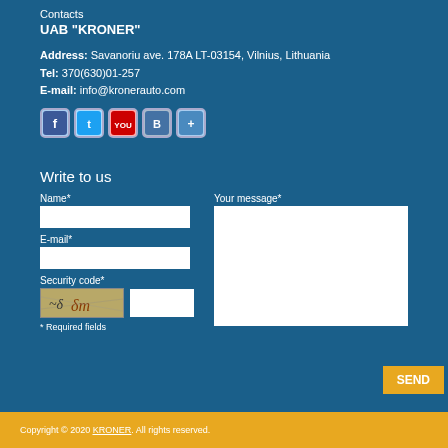Contacts
UAB "KRONER"
Address: Savanoriu ave. 178A LT-03154, Vilnius, Lithuania
Tel: 370(630)01-257
E-mail: info@kronerauto.com
[Figure (other): Social media icons: Facebook, Twitter, YouTube, VK, Google+]
Write to us
Name*
E-mail*
Security code*
* Required fields
Your message*
Copyright © 2020 KRONER. All rights reserved.